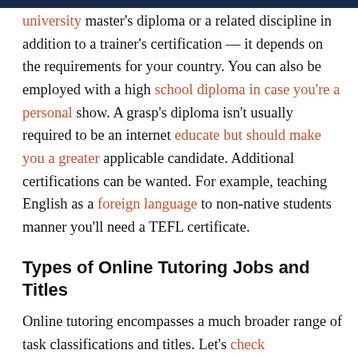...university...master's diploma or a related discipline in addition to a trainer's certification — it depends on the requirements for your country. You can also be employed with a high school diploma in case you're a personal show. A grasp's diploma isn't usually required to be an internet educate but should make you a greater applicable candidate. Additional certifications can be wanted. For example, teaching English as a foreign language to non-native students manner you'll need a TEFL certificate.
Types of Online Tutoring Jobs and Titles
Online tutoring encompasses a much broader range of task classifications and titles. Let's check